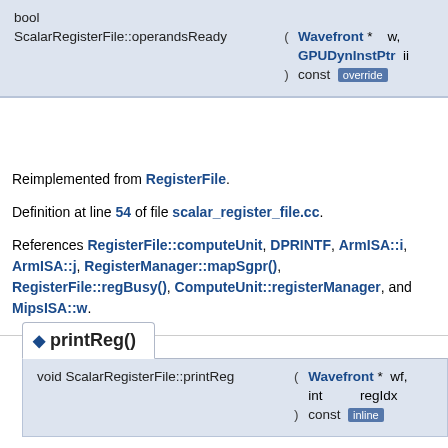bool ScalarRegisterFile::operandsReady ( Wavefront * w, GPUDynInstPtr ii ) const override
Reimplemented from RegisterFile.
Definition at line 54 of file scalar_register_file.cc.
References RegisterFile::computeUnit, DPRINTF, ArmISA::i, ArmISA::j, RegisterManager::mapSgpr(), RegisterFile::regBusy(), ComputeUnit::registerManager, and MipsISA::w.
◆ printReg()
void ScalarRegisterFile::printReg ( Wavefront * wf, int regIdx ) const inline